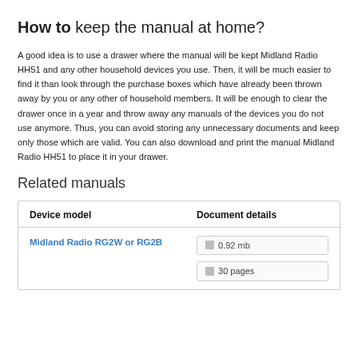How to keep the manual at home?
A good idea is to use a drawer where the manual will be kept Midland Radio HH51 and any other household devices you use. Then, it will be much easier to find it than look through the purchase boxes which have already been thrown away by you or any other of household members. It will be enough to clear the drawer once in a year and throw away any manuals of the devices you do not use anymore. Thus, you can avoid storing any unnecessary documents and keep only those which are valid. You can also download and print the manual Midland Radio HH51 to place it in your drawer.
Related manuals
| Device model | Document details |
| --- | --- |
| Midland Radio RG2W or RG2B | 0.92 mb
30 pages |